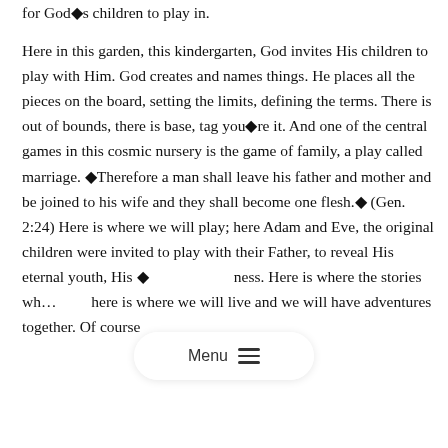for God◆s children to play in.
Here in this garden, this kindergarten, God invites His children to play with Him. God creates and names things. He places all the pieces on the board, setting the limits, defining the terms. There is out of bounds, there is base, tag you◆re it. And one of the central games in this cosmic nursery is the game of family, a play called marriage. ◆Therefore a man shall leave his father and mother and be joined to his wife and they shall become one flesh.◆ (Gen. 2:24) Here is where we will play; here Adam and Eve, the original children were invited to play with their Father, to reveal His eternal youth, His ◆ ness. Here is where the stories wh… here is where we will live and we will have adventures together. Of course